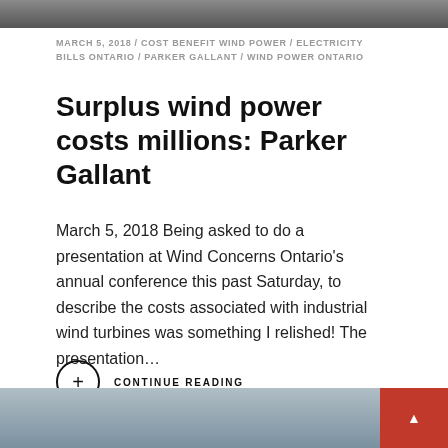[Figure (photo): Top banner image, dark road or landscape photograph]
MARCH 5, 2018 / COST BENEFIT WIND POWER / ELECTRICITY BILLS ONTARIO / PARKER GALLANT / WIND POWER ONTARIO
Surplus wind power costs millions: Parker Gallant
March 5, 2018 Being asked to do a presentation at Wind Concerns Ontario's annual conference this past Saturday, to describe the costs associated with industrial wind turbines was something I relished! The presentation…
CONTINUE READING
[Figure (photo): Bottom partial image showing sky and wind turbine, with red box containing up arrow in bottom right corner]